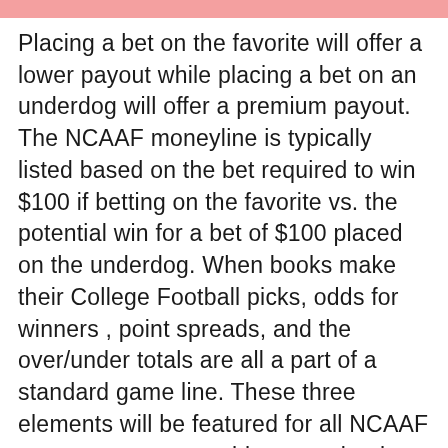Placing a bet on the favorite will offer a lower payout while placing a bet on an underdog will offer a premium payout. The NCAAF moneyline is typically listed based on the bet required to win $100 if betting on the favorite vs. the potential win for a bet of $100 placed on the underdog. When books make their College Football picks, odds for winners , point spreads, and the over/under totals are all a part of a standard game line. These three elements will be featured for all NCAAF games at any reputable sports betting site. Yes, the online sports betting sites that we recommend on this page for NCAAF odds accept Bitcoin and other forms of cryptocurrency as a form of deposit.